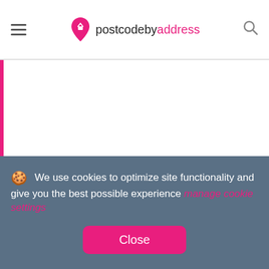postcodebyaddress
[Figure (other): White content area with pink left border, empty]
🍪 We use cookies to optimize site functionality and give you the best possible experience manage cookie settings
Close